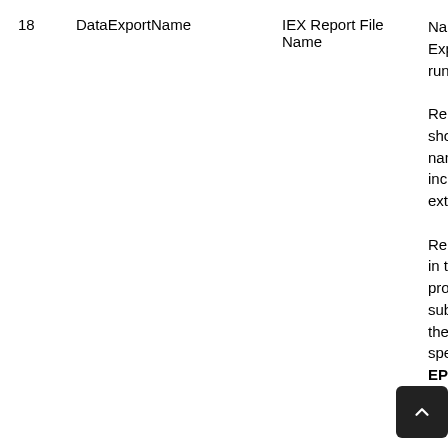|  | DataExportName | IEX Report File Name | Nam Expo run  Repo shou nam inclu exte  Repo in th proc sub- the r spec EP MAR |
| --- | --- | --- | --- |
| 18 | DataExportName | IEX Report File Name | Name of the Export run. Report should name include extension. Report in the process sub- the r spec EP MAR |